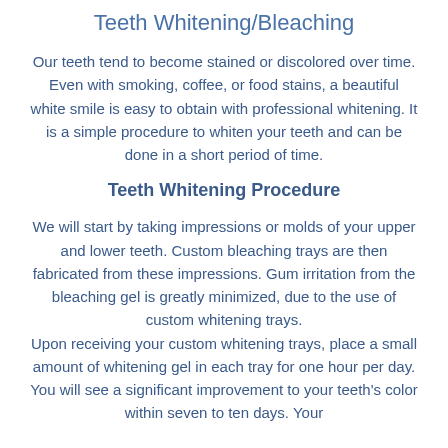Teeth Whitening/Bleaching
Our teeth tend to become stained or discolored over time. Even with smoking, coffee, or food stains, a beautiful white smile is easy to obtain with professional whitening. It is a simple procedure to whiten your teeth and can be done in a short period of time.
Teeth Whitening Procedure
We will start by taking impressions or molds of your upper and lower teeth. Custom bleaching trays are then fabricated from these impressions. Gum irritation from the bleaching gel is greatly minimized, due to the use of custom whitening trays. Upon receiving your custom whitening trays, place a small amount of whitening gel in each tray for one hour per day. You will see a significant improvement to your teeth's color within seven to ten days. Your